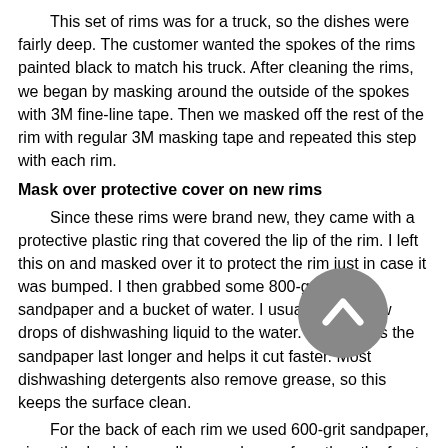This set of rims was for a truck, so the dishes were fairly deep. The customer wanted the spokes of the rims painted black to match his truck. After cleaning the rims, we began by masking around the outside of the spokes with 3M fine-line tape. Then we masked off the rest of the rim with regular 3M masking tape and repeated this step with each rim.
Mask over protective cover on new rims
Since these rims were brand new, they came with a protective plastic ring that covered the lip of the rim. I left this on and masked over it to protect the rim just in case it was bumped. I then grabbed some 800-grit wet sandpaper and a bucket of water. I usually add a few drops of dishwashing liquid to the water. This makes the sandpaper last longer and helps it cut faster. Most dishwashing detergents also remove grease, so this keeps the surface clean.
For the back of each rim we used 600-grit sandpaper, since the back is usually a rougher surface than the front. We made sure to sand right up to the edge and when finished we unmasked each rim and masked it again with 3M fine-line tape and regular masking tape. {mospagebreak}